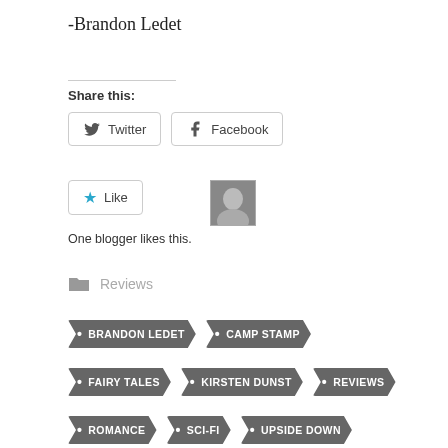-Brandon Ledet
Share this:
Twitter
Facebook
Like
One blogger likes this.
Reviews
BRANDON LEDET
CAMP STAMP
FAIRY TALES
KIRSTEN DUNST
REVIEWS
ROMANCE
SCI-FI
UPSIDE DOWN